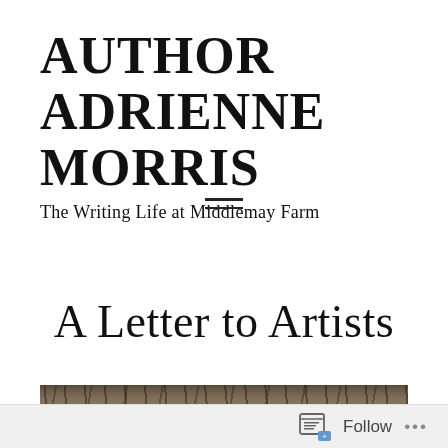AUTHOR ADRIENNE MORRIS
The Writing Life at Middlemay Farm
[Figure (other): Hamburger menu icon with two horizontal lines]
A Letter to Artists
[Figure (photo): Partial photo showing tree branches and outdoor winter scene]
Follow ...